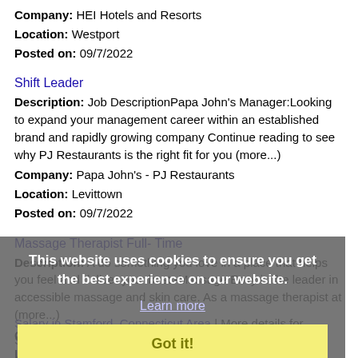Company: HEI Hotels and Resorts
Location: Westport
Posted on: 09/7/2022
Shift Leader
Description: Job DescriptionPapa John's Manager:Looking to expand your management career within an established brand and rapidly growing company Continue reading to see why PJ Restaurants is the right fit for you (more...)
Company: Papa John's - PJ Restaurants
Location: Levittown
Posted on: 09/7/2022
Massage Therapist Full- Time
Description: A do something you love in a place that helps you feel and deliver your best -Massage Envy is the leader in accessible massage and skin care. As a massage therapist at (more...)
Company: massage envy
Location: Westport
Posted on: 09/7/2022
[Figure (other): Cookie consent overlay with 'This website uses cookies to ensure you get the best experience on our website.' message, a 'Learn more' link, and a yellow 'Got it!' button]
Salary in Stamford, Connecticut Area | More details for Stamford, Connecticut Jobs |Salary